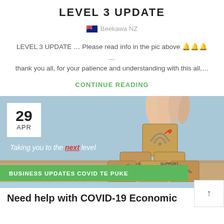LEVEL 3 UPDATE
Beekawa NZ
LEVEL 3 UPDATE … Please read info in the pic above 🔔🔔🔔 ... thank you all, for your patience and understanding with this all,…
CONTINUE READING
[Figure (photo): Photo of a hand placing a wooden block with a WiFi/signal icon on top of stacked wooden blocks labeled EXPERTISE, SKILL, GROWTH, ADVICE, SUPPORT. Blue background. Text overlay: 'Taking you to the next level'. Date box: 29 APR. Green banner: BUSINESS UPDATES COVID TE PUKE.]
Need help with COVID-19 Economic